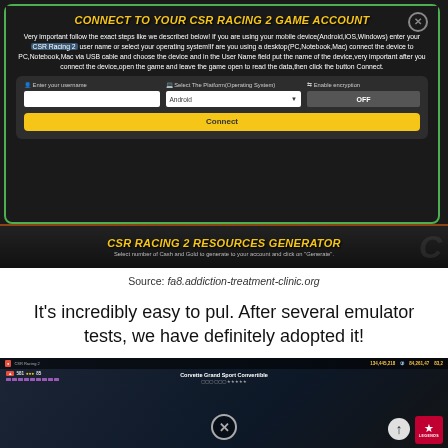[Figure (screenshot): Screenshot of CSR Racing 2 hack tool web page showing 'Connect to your CSR Racing 2 Game Account' form with username field, platform selector set to Android, Enable encryption toggle set to OFF, and a Connect button. Below is a 'CSR Racing 2 Resources Generator' banner.]
Source: fa8.addiction-treatment-clinic.org
It's incredibly easy to pul. After several emulator tests, we have definitely adopted it!
[Figure (screenshot): Screenshot of CSR Racing 2 mobile game gameplay showing car garage, HUD with resource counts (134,445,218 cash and 84,261,47 gold), car name Corvettte Grand Sport Convertible, and a Legends badge.]